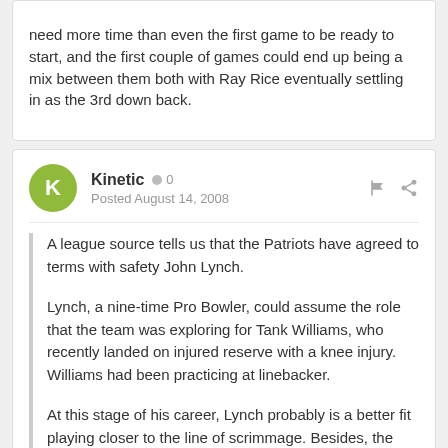need more time than even the first game to be ready to start, and the first couple of games could end up being a mix between them both with Ray Rice eventually settling in as the 3rd down back.
Kinetic  0
Posted August 14, 2008
A league source tells us that the Patriots have agreed to terms with safety John Lynch.
Lynch, a nine-time Pro Bowler, could assume the role that the team was exploring for Tank Williams, who recently landed on injured reserve with a knee injury. Williams had been practicing at linebacker.
At this stage of his career, Lynch probably is a better fit playing closer to the line of scrimmage. Besides, the team already has a Lynch-style safety in Rodney Harrison.